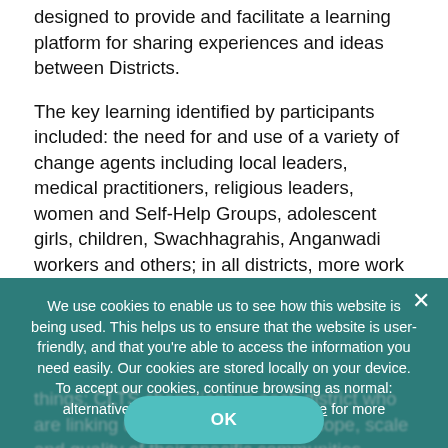designed to provide and facilitate a learning platform for sharing experiences and ideas between Districts.
The key learning identified by participants included: the need for and use of a variety of change agents including local leaders, medical practitioners, religious leaders, women and Self-Help Groups, adolescent girls, children, Swachhagrahis, Anganwadi workers and others; in all districts, more work is needed for the disabled; the importance of high quality CLTS facilitators – maintaining the quality of the CLTS process was listed as a challenge and some may need to undergo
We use cookies to enable us to see how this website is being used. This helps us to ensure that the website is user-friendly, and that you're able to access the information you need easily. Our cookies are stored locally on your device. To accept our cookies, continue browsing as normal: alternatively please see our Privacy page for more information.